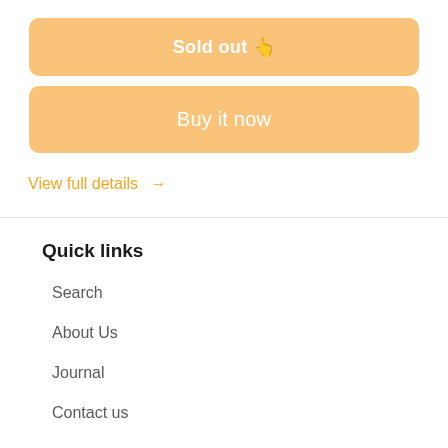Sold out 👆
Buy it now
View full details →
Quick links
Search
About Us
Journal
Contact us